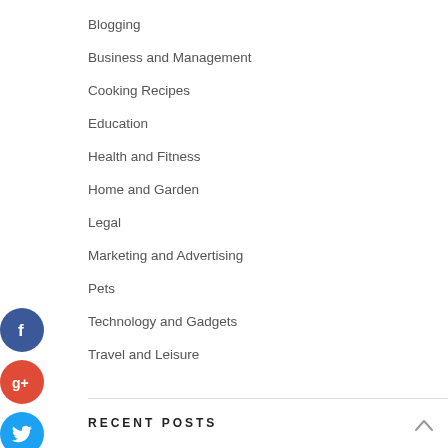Blogging
Business and Management
Cooking Recipes
Education
Health and Fitness
Home and Garden
Legal
Marketing and Advertising
Pets
Technology and Gadgets
Travel and Leisure
RECENT POSTS